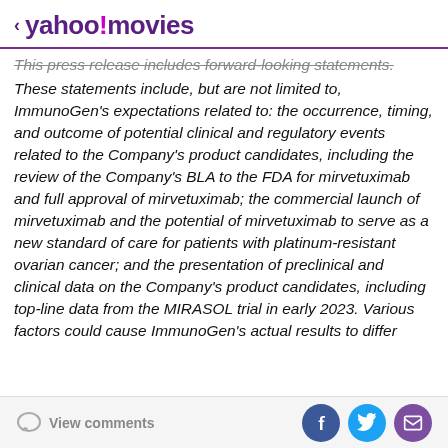< yahoo!movies
This press release includes forward-looking statements. These statements include, but are not limited to, ImmunoGen's expectations related to: the occurrence, timing, and outcome of potential clinical and regulatory events related to the Company's product candidates, including the review of the Company's BLA to the FDA for mirvetuximab and full approval of mirvetuximab; the commercial launch of mirvetuximab and the potential of mirvetuximab to serve as a new standard of care for patients with platinum-resistant ovarian cancer; and the presentation of preclinical and clinical data on the Company's product candidates, including top-line data from the MIRASOL trial in early 2023. Various factors could cause ImmunoGen's actual results to differ
View comments